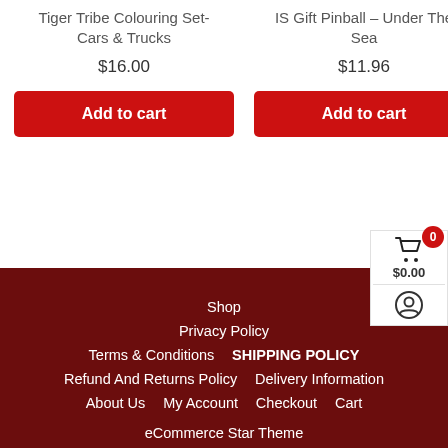Tiger Tribe Colouring Set- Cars & Trucks
IS Gift Pinball – Under The Sea
$16.00
$11.96
Add to cart
Add to cart
Shop  Privacy Policy  Terms & Conditions  SHIPPING POLICY  Refund And Returns Policy  Delivery Information  About Us  My Account  Checkout  Cart  eCommerce Star Theme